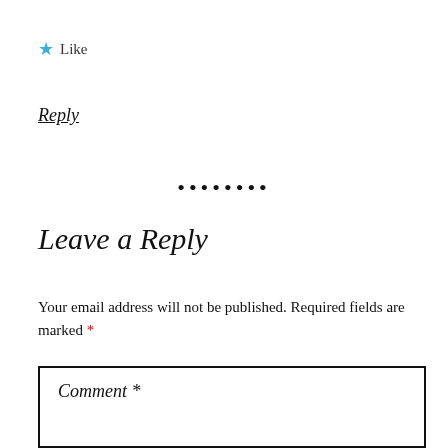★ Like
Reply
••••••••
Leave a Reply
Your email address will not be published. Required fields are marked *
Comment *